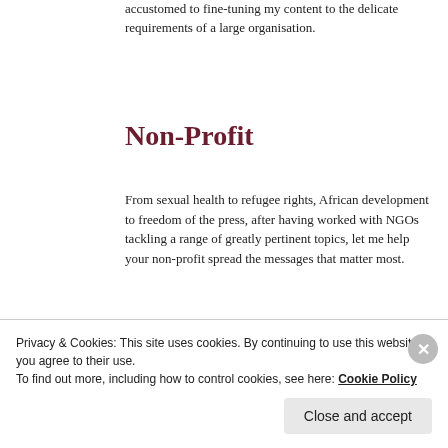accustomed to fine-tuning my content to the delicate requirements of a large organisation.
Non-Profit
From sexual health to refugee rights, African development to freedom of the press, after having worked with NGOs tackling a range of greatly pertinent topics, let me help your non-profit spread the messages that matter most.
Advertisements
[Figure (other): Advertisement banner for WordPress: 'Professionally designed sites in less than a week' with WordPress logo]
Privacy & Cookies: This site uses cookies. By continuing to use this website, you agree to their use.
To find out more, including how to control cookies, see here: Cookie Policy
Close and accept